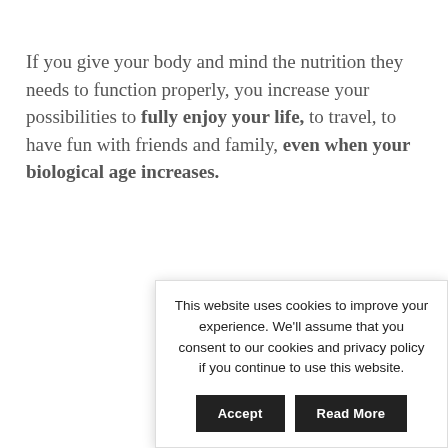If you give your body and mind the nutrition they needs to function properly, you increase your possibilities to fully enjoy your life, to travel, to have fun with friends and family, even when your biological age increases.
What's yo lifestyle? Sh
And if you f share it o
This website uses cookies to improve your experience. We'll assume that you consent to our cookies and privacy policy if you continue to use this website.